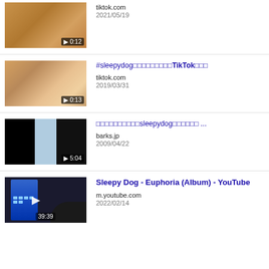[Figure (screenshot): Video thumbnail of a dog, golden/brown fur, with play button and duration 0:12]
tiktok.com
2021/05/19
[Figure (screenshot): Video thumbnail of a sleeping dog close-up, with play button and duration 0:13]
#sleepydog〇〇〇〇〇〇〇〇〇TikTok〇〇〇
tiktok.com
2019/03/31
[Figure (screenshot): Video thumbnail split: black left, blue/white center, dark right panel, play button and duration 5:04]
〇〇〇〇〇〇〇〇〇〇sleepydog〇〇〇〇〇〇 ...
barks.jp
2009/04/22
[Figure (screenshot): YouTube video thumbnail showing a dark scene with a building/tower, play button and duration 39:39]
Sleepy Dog - Euphoria (Album) - YouTube
m.youtube.com
2022/02/14